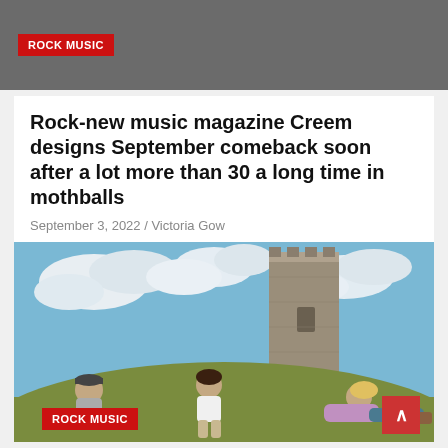ROCK MUSIC
Rock-new music magazine Creem designs September comeback soon after a lot more than 30 a long time in mothballs
September 3, 2022 / Victoria Gow
[Figure (photo): Three people sitting on a grassy hill in front of a stone tower/ruin under a cloudy sky. One person on the left wears a cap and grey shirt, one in the middle wears a white t-shirt, and one on the right wears a purple top and is reclining.]
ROCK MUSIC